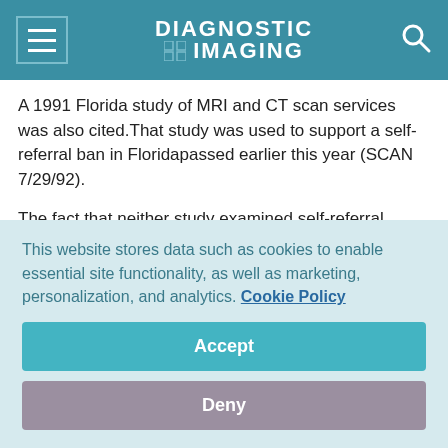DIAGNOSTIC IMAGING
A 1991 Florida study of MRI and CT scan services was also cited.That study was used to support a self-referral ban in Floridapassed earlier this year (SCAN 7/29/92).
The fact that neither study examined self-referral patternsin New York was used as ammunition against the legislation byits main opponent, the Medical Society of the State of New York.The state society initially supported a ban, but changed positionafter the American Medical Association reversed its
This website stores data such as cookies to enable essential site functionality, as well as marketing, personalization, and analytics. Cookie Policy
Accept
Deny